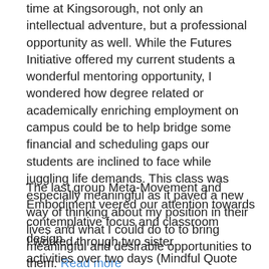time at Kingsorough, not only an intellectual adventure, but a professional opportunity as well. While the Futures Initiative offered my current students a wonderful mentoring opportunity, I wondered how degree related or academically enriching employment on campus could be to help bridge some financial and scheduling gaps our students are inclined to face while juggling life demands. This class was especially meaningful as it paved a new way of thinking about my position in their lives and what I could do to to bring meaningful and desirable opportunities to them. Read more
The last group Meta-Movement and Embodiment veered our attention towards contemplative focus and classroom design.
I worked through two sister activities over two days (Mindful Quote Meditation and on the next day a Speed Date Debate with the arguments they constructed using the quote they meditated on the day before). These were exciting